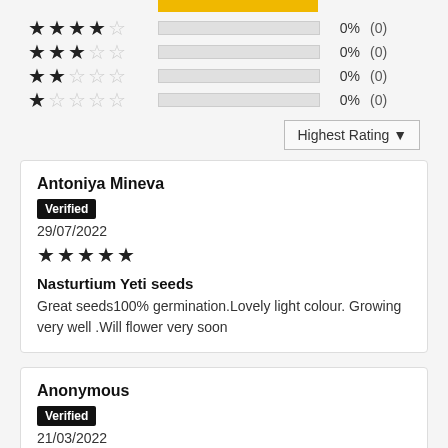4 stars: 0% (0)
3 stars: 0% (0)
2 stars: 0% (0)
1 star: 0% (0)
Highest Rating ▼
Antoniya Mineva
Verified
29/07/2022
★★★★★
Nasturtium Yeti seeds
Great seeds100% germination.Lovely light colour. Growing very well .Will flower very soon
Anonymous
Verified
21/03/2022